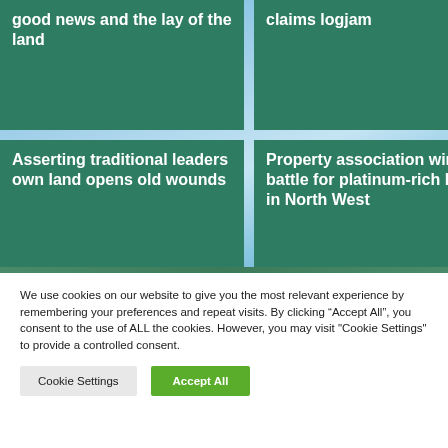[Figure (screenshot): Website screenshot showing four green article tiles in a 2x2 grid layout against a sky/clouds background. Top-left tile: 'good news and the lay of the land'. Top-right tile: 'claims logjam'. Bottom-left tile: 'Asserting traditional leaders own land opens old wounds'. Bottom-right tile: 'Property association wins battle for platinum-rich land in North West'.]
We use cookies on our website to give you the most relevant experience by remembering your preferences and repeat visits. By clicking “Accept All”, you consent to the use of ALL the cookies. However, you may visit "Cookie Settings" to provide a controlled consent.